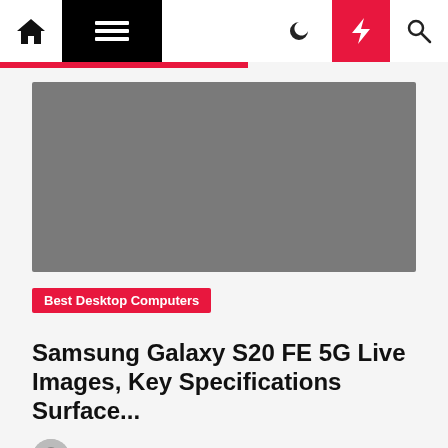Navigation bar with home, menu, dark mode, lightning, and search icons
[Figure (photo): Gray placeholder image for article thumbnail]
Best Desktop Computers
Samsung Galaxy S20 FE 5G Live Images, Key Specifications Surface...
Nancy J. Delong  2 years ago